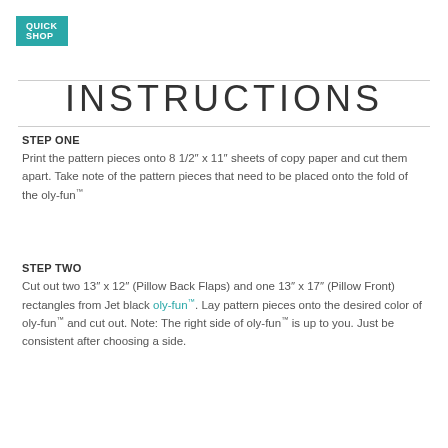QUICK SHOP
INSTRUCTIONS
STEP ONE
Print the pattern pieces onto 8 1/2″ x 11″ sheets of copy paper and cut them apart. Take note of the pattern pieces that need to be placed onto the fold of the oly-fun™
STEP TWO
Cut out two 13″ x 12″ (Pillow Back Flaps) and one 13″ x 17″ (Pillow Front) rectangles from Jet black oly-fun™. Lay pattern pieces onto the desired color of oly-fun™ and cut out. Note: The right side of oly-fun™ is up to you. Just be consistent after choosing a side.